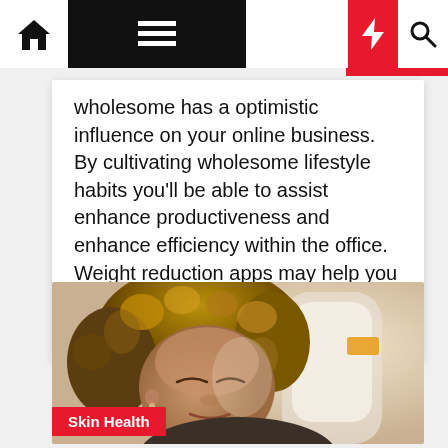Navigation bar with home, menu, dark mode, bolt, and search icons
wholesome has a optimistic influence on your online business. By cultivating wholesome lifestyle habits you'll be able to assist enhance productiveness and enhance efficiency within the office. Weight reduction apps may help you do these as they provide customers a simple and fast strategy to […]
[Figure (photo): Woman with curly hair resting eyes closed against an airplane seat window, photo taken from the side]
Skin Health